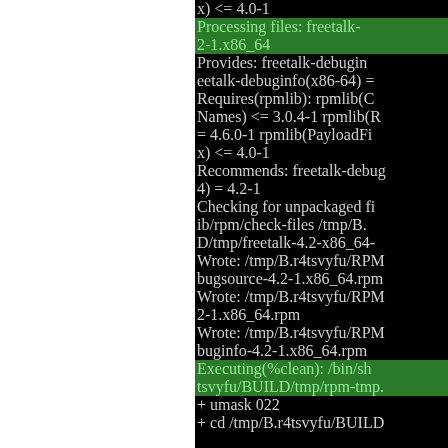[Figure (screenshot): Terminal/console output showing RPM package build log. Left portion of page is white (clipped). Right portion shows black terminal with green-highlighted lines for 'Processing files' and 'Executing(%clean)' sections, and white text showing package metadata including Provides, Requires, Recommends, file checking, and Wrote lines for freetalk RPM packages.]